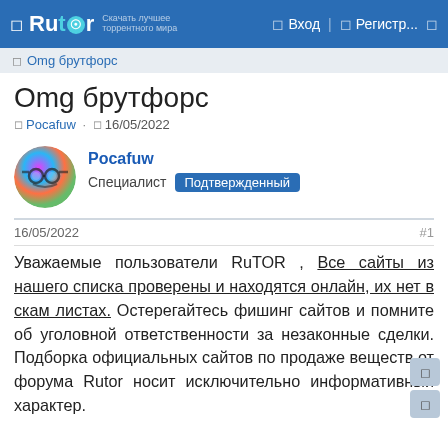Rutor — Вход — Регистр...
Omg брутфорс
Omg брутфорс
Pocafuw · 16/05/2022
Pocafuw
Специалист Подтвержденный
16/05/2022  #1
Уважаемые пользователи RuTOR , Все сайты из нашего списка проверены и находятся онлайн, их нет в скам листах. Остерегайтесь фишинг сайтов и помните об уголовной ответственности за незаконные сделки. Подборка официальных сайтов по продаже веществ от форума Rutor носит исключительно информативный характер.